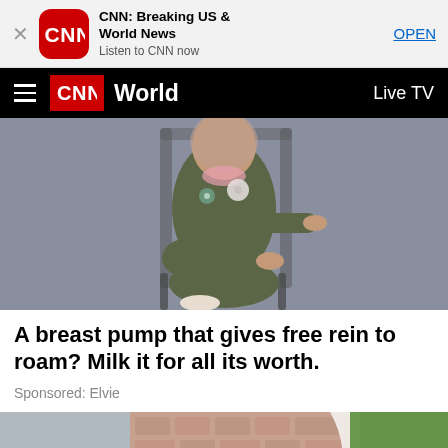[Figure (screenshot): CNN app banner with close button, CNN logo icon, app title 'CNN: Breaking US & World News', subtitle 'Listen to CNN now', and OPEN button]
[Figure (screenshot): CNN navigation bar with hamburger menu, CNN logo, 'World' section title, and 'Live TV' link]
[Figure (photo): Person wearing olive green outfit sitting in a chair against a gray background, with breast pump device visible]
A breast pump that gives free rein to roam? Milk it for all its worth.
Sponsored: Elvie
[Figure (photo): Partial image of what appears to be an outdoor scene with a path or driveway, showing brick/stone pavers and grass]